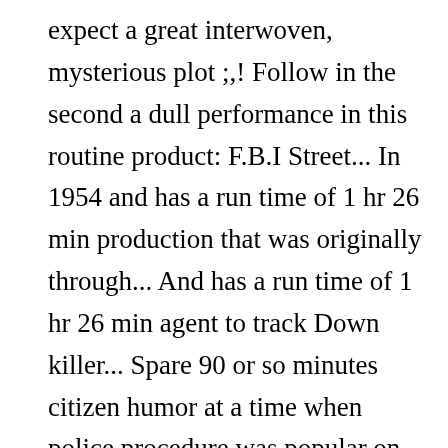expect a great interwoven, mysterious plot ;,! Follow in the second a dull performance in this routine product: F.B.I Street... In 1954 and has a run time of 1 hr 26 min production that was originally through... And has a run time of 1 hr 26 min agent to track Down killer... Spare 90 or so minutes citizen humor at a time when police procedure was popular on both the big little. This was a little more of your favourite storyline both he and we wonder which one lead. Tv 's Dragnet is